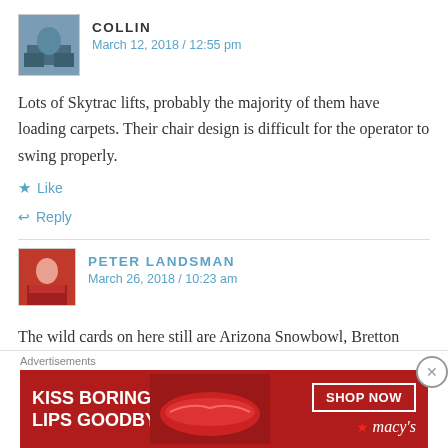COLLIN
March 12, 2018 / 12:55 pm
Lots of Skytrac lifts, probably the majority of them have loading carpets. Their chair design is difficult for the operator to swing properly.
Like
Reply
PETER LANDSMAN
March 26, 2018 / 10:23 am
The wild cards on here still are Arizona Snowbowl, Bretton
Advertisements
KISS BORING LIPS GOODBYE
SHOP NOW
macys